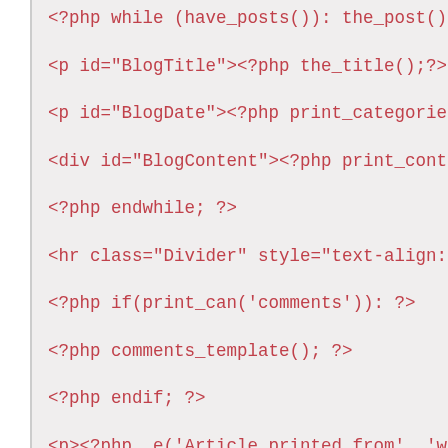<?php while (have_posts()): the_post(); ?>
<p id="BlogTitle"><?php the_title();?><?php $
<p id="BlogDate"><?php print_categories('|__'
<div id="BlogContent"><?php print_content();
<?php endwhile; ?>
<hr class="Divider" style="text-align: center
<?php if(print_can('comments')): ?>
<?php comments_template(); ?>
<?php endif; ?>
<p><?php _e('Article printed from', 'wp-print
<p><?php _e('URL to article', 'wp-print'); ?>
<?php if(print_can('links')): ?>
<p><?php print_links(); ?></p>